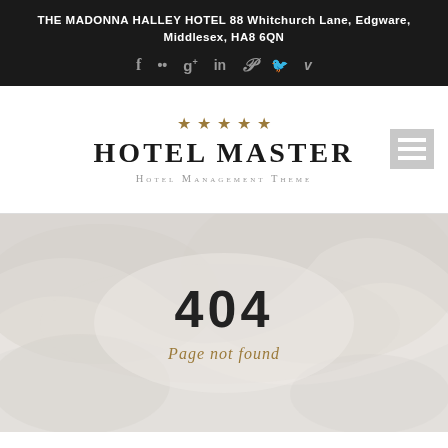THE MADONNA HALLEY HOTEL 88 Whitchurch Lane, Edgware, Middlesex, HA8 6QN
HOTEL MASTER
Hotel Management Theme
[Figure (screenshot): 404 error page with 'Page not found' text overlaid on a faded white mountain/wave texture background image]
404
Page not found